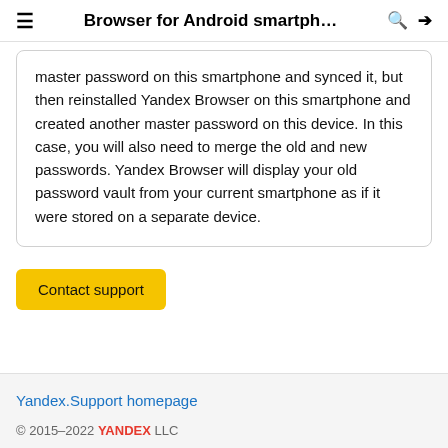Browser for Android smartph… 🔍 ➡
master password on this smartphone and synced it, but then reinstalled Yandex Browser on this smartphone and created another master password on this device. In this case, you will also need to merge the old and new passwords. Yandex Browser will display your old password vault from your current smartphone as if it were stored on a separate device.
Contact support
Yandex.Support homepage
© 2015–2022 YANDEX LLC